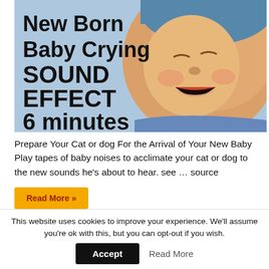[Figure (photo): Thumbnail image of a crying newborn baby wearing a blue hat, with bold text overlay reading 'New Born Baby Crying SOUND EFFECT 6 minutes']
Prepare Your Cat or dog For the Arrival of Your New Baby Play tapes of baby noises to acclimate your cat or dog to the new sounds he's about to hear. see … source
Read More »
This website uses cookies to improve your experience. We'll assume you're ok with this, but you can opt-out if you wish.
Accept
Read More